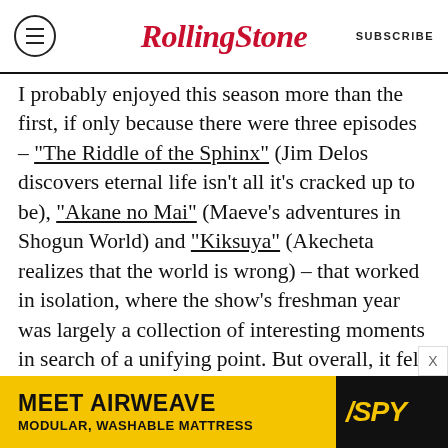RollingStone | SUBSCRIBE
I probably enjoyed this season more than the first, if only because there were three episodes – "The Riddle of the Sphinx" (Jim Delos discovers eternal life isn't all it's cracked up to be), "Akane no Mai" (Maeve's adventures in Shogun World) and "Kiksuya" (Akecheta realizes that the world is wrong) – that worked in isolation, where the show's freshman year was largely a collection of interesting moments in search of a unifying point. But overall, it felt more wearying because it's clear now that Nolan and Joy are most excited about the least interesting aspects of their own story, and about telling that story in the most counter-productive way. You could look at Season One's
[Figure (infographic): Advertisement banner: MEET AIRWEAVE / MODULAR, WASHABLE MATTRESS with SPY logo on yellow background]